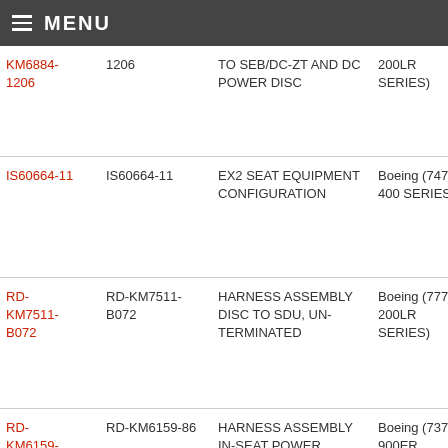MENU
| Link | Part Number | Description | Aircraft | Action |
| --- | --- | --- | --- | --- |
| KM6884-1206 | 1206 | TO SEB/DC-ZT AND DC POWER DISC | 200LR SERIES) | Re |
| IS60664-11 | IS60664-11 | EX2 SEAT EQUIPMENT CONFIGURATION | Boeing (747-400 SERIES) | Re |
| RD-KM7511-B072 | RD-KM7511-B072 | HARNESS ASSEMBLY DISC TO SDU, UN-TERMINATED | Boeing (777-200LR SERIES) | Re |
| RD-KM6159-86 | RD-KM6159-86 | HARNESS ASSEMBLY IN-SEAT POWER | Boeing (737-900ER SERIES) | Re |